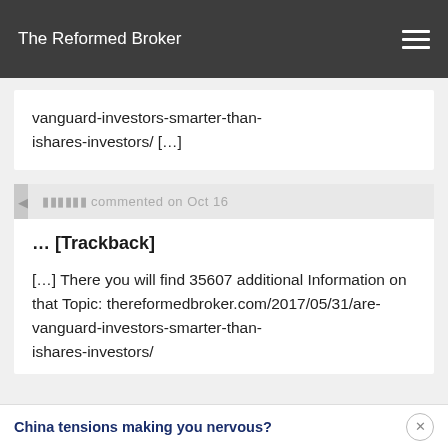The Reformed Broker
vanguard-investors-smarter-than-ishares-investors/ […]
󰀀󰀀󰀀󰀀󰀀 commented on Oct 16
… [Trackback]
[…] There you will find 35607 additional Information on that Topic: thereformedbroker.com/2017/05/31/are-vanguard-investors-smarter-than-ishares-investors/
China tensions making you nervous?